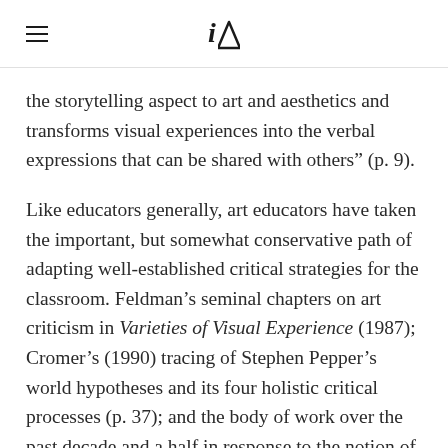iA
the storytelling aspect to art and aesthetics and transforms visual experiences into the verbal expressions that can be shared with others" (p. 9).
Like educators generally, art educators have taken the important, but somewhat conservative path of adapting well-established critical strategies for the classroom. Feldman's seminal chapters on art criticism in Varieties of Visual Experience (1987); Cromer's (1990) tracing of Stephen Pepper's world hypotheses and its four holistic critical processes (p. 37); and the body of work over the past decade and a half in response to the notion of Discipline-Based